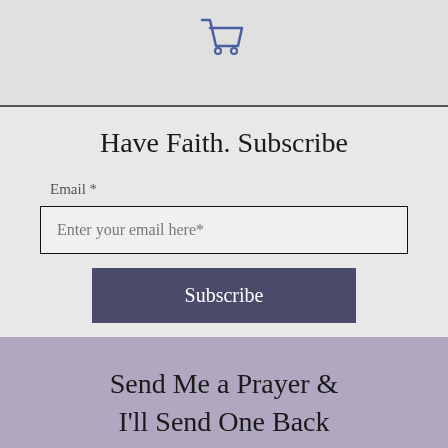[Figure (illustration): Shopping cart icon in blue/indigo outline style, centered in the gray top bar area]
Have Faith. Subscribe
Email *
Enter your email here*
Subscribe
Send Me a Prayer & I'll Send One Back
First Name